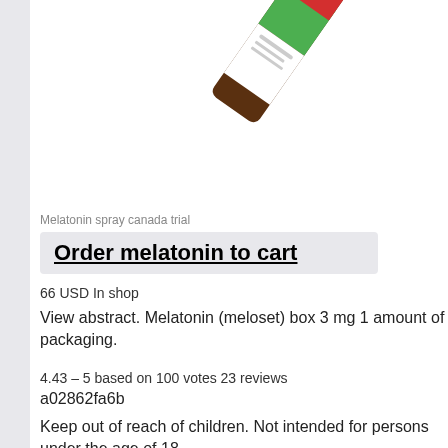[Figure (photo): Product photo of a melatonin spray bottle with red and green label, tilted at an angle, showing partial view cropped at top]
Melatonin spray canada trial
Order melatonin to cart
66 USD In shop
View abstract. Melatonin (meloset) box 3 mg 1 amount of packaging.
4.43 – 5 based on 100 votes 23 reviews
a02862fa6b
Keep out of reach of children. Not intended for persons under the age of 18.